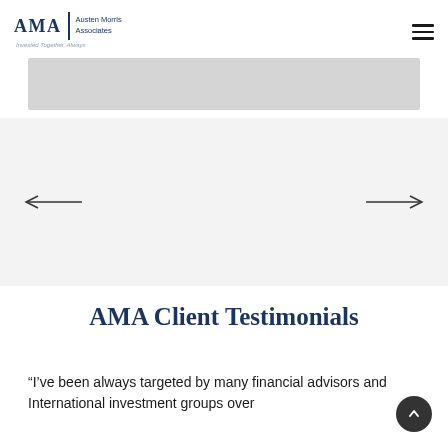[Figure (logo): AMA | Austen Morris Associates logo with tagline 'Invested Together, Always']
[Figure (other): Gray banner/image strip]
[Figure (other): Image carousel/slider area with left and right navigation arrows]
AMA Client Testimonials
“I’ve been always targeted by many financial advisors and International investment groups over